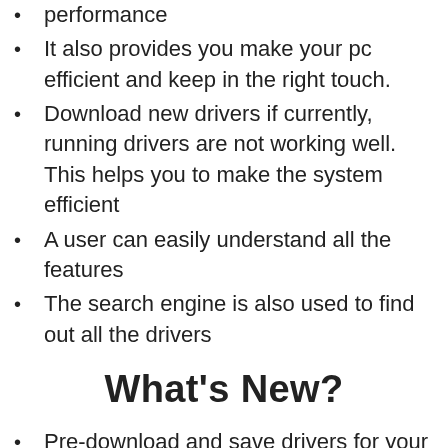performance
It also provides you make your pc efficient and keep in the right touch.
Download new drivers if currently, running drivers are not working well. This helps you to make the system efficient
A user can easily understand all the features
The search engine is also used to find out all the drivers
What's New?
Pre-download and save drivers for your PC, download, and easily transfer drivers from another PC.
Instantly detect any peripheral devices